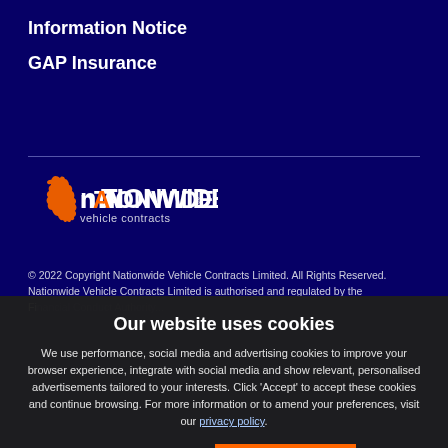Information Notice
GAP Insurance
[Figure (logo): Nationwide Vehicle Contracts logo — orange UK map silhouette with white text 'nationwide vehicle contracts']
© 2022 Copyright Nationwide Vehicle Contracts Limited. All Rights Reserved. Nationwide Vehicle Contracts Limited is authorised and regulated by the Financial...
Our website uses cookies
We use performance, social media and advertising cookies to improve your browser experience, integrate with social media and show relevant, personalised advertisements tailored to your interests. Click 'Accept' to accept these cookies and continue browsing. For more information or to amend your preferences, visit our privacy policy.
Change Settings
✓ ACCEPT